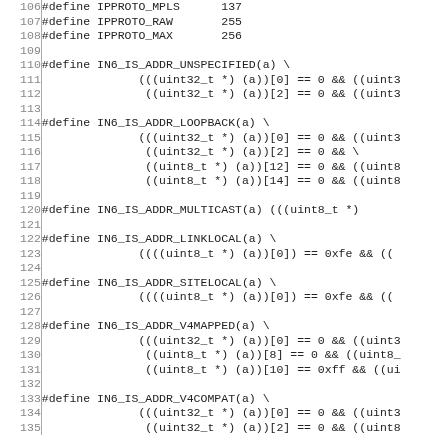C source code lines 106-135 showing #define macros for IP protocol constants and IN6_IS_ADDR macros including IPPROTO_MPLS (137), IPPROTO_RAW (255), IPPROTO_MAX (256), IN6_IS_ADDR_UNSPECIFIED, IN6_IS_ADDR_LOOPBACK, IN6_IS_ADDR_MULTICAST, IN6_IS_ADDR_LINKLOCAL, IN6_IS_ADDR_SITELOCAL, IN6_IS_ADDR_V4MAPPED, IN6_IS_ADDR_V4COMPAT